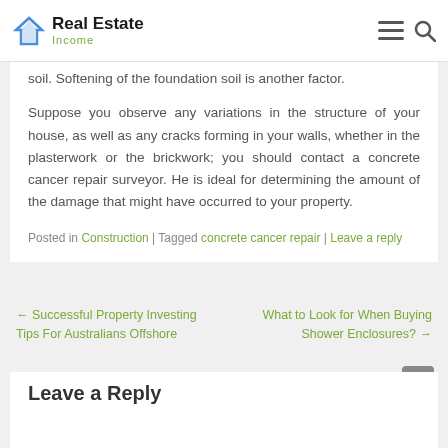Real Estate Income
soil. Softening of the foundation soil is another factor.
Suppose you observe any variations in the structure of your house, as well as any cracks forming in your walls, whether in the plasterwork or the brickwork; you should contact a concrete cancer repair surveyor. He is ideal for determining the amount of the damage that might have occurred to your property.
Posted in Construction | Tagged concrete cancer repair | Leave a reply
← Successful Property Investing Tips For Australians Offshore
What to Look for When Buying Shower Enclosures? →
Leave a Reply